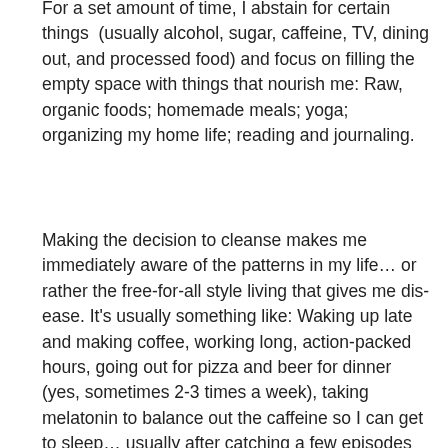For a set amount of time, I abstain for certain things  (usually alcohol, sugar, caffeine, TV, dining out, and processed food) and focus on filling the empty space with things that nourish me: Raw, organic foods; homemade meals; yoga; organizing my home life; reading and journaling.
Making the decision to cleanse makes me immediately aware of the patterns in my life… or rather the free-for-all style living that gives me dis-ease. It's usually something like: Waking up late and making coffee, working long, action-packed hours, going out for pizza and beer for dinner (yes, sometimes 2-3 times a week), taking melatonin to balance out the caffeine so I can get to sleep… usually after catching a few episodes of